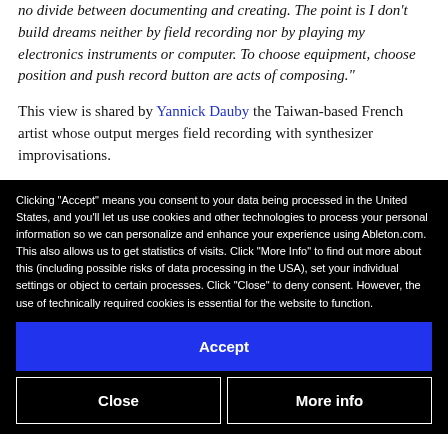no divide between documenting and creating. The point is I don't build dreams neither by field recording nor by playing my electronics instruments or computer. To choose equipment, choose position and push record button are acts of composing."
This view is shared by Yannick Dauby the Taiwan-based French artist whose output merges field recording with synthesizer improvisations.
Clicking "Accept" means you consent to your data being processed in the United States, and you'll let us use cookies and other technologies to process your personal information so we can personalize and enhance your experience using Ableton.com. This also allows us to get statistics of visits. Click "More Info" to find out more about this (including possible risks of data processing in the USA), set your individual settings or object to certain processes. Click "Close" to deny consent. However, the use of technically required cookies is essential for the website to function.
Accept
Close
More info